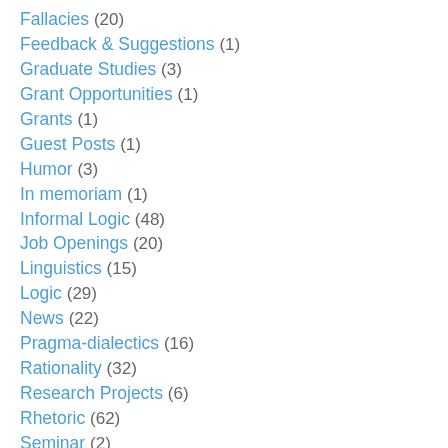Fallacies (20)
Feedback & Suggestions (1)
Graduate Studies (3)
Grant Opportunities (1)
Grants (1)
Guest Posts (1)
Humor (3)
In memoriam (1)
Informal Logic (48)
Job Openings (20)
Linguistics (15)
Logic (29)
News (22)
Pragma-dialectics (16)
Rationality (32)
Research Projects (6)
Rhetoric (62)
Seminar (2)
Seminar/Workshop/Program Announcements (22)
Studentships (1)